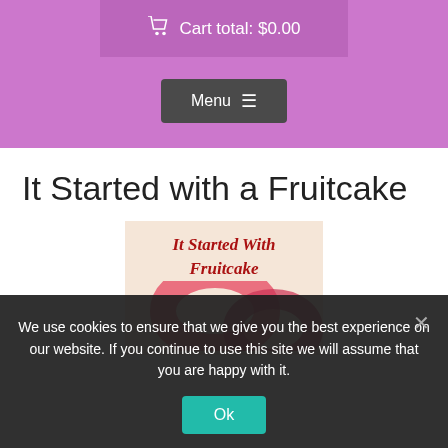Cart total: $0.00
Menu ≡
It Started with a Fruitcake
[Figure (illustration): Book cover illustration showing 'It Started With Fruitcake' in decorative red script on a light peach background with pink/red ring shapes below]
We use cookies to ensure that we give you the best experience on our website. If you continue to use this site we will assume that you are happy with it.